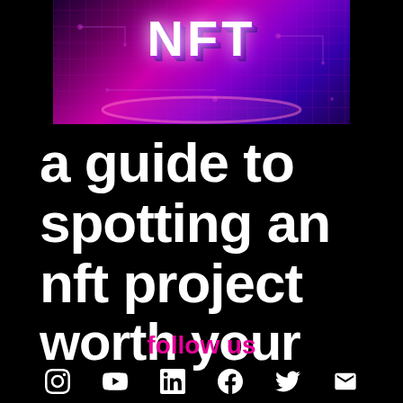[Figure (photo): NFT 3D glowing letters on a purple/pink circuit board background]
a guide to spotting an nft project worth your
follow us
[Figure (infographic): Row of social media icons: Instagram, YouTube, LinkedIn, Facebook, Twitter/X, Email]